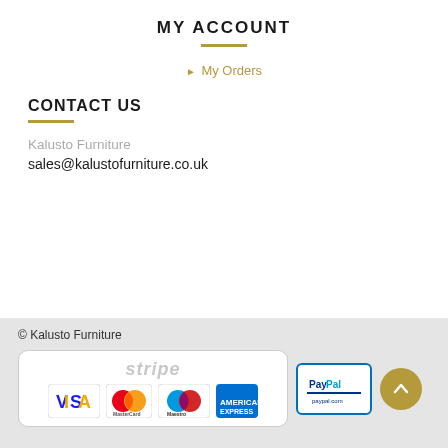MY ACCOUNT
My Orders
CONTACT US
Kalusto Furniture
sales@kalustofurniture.co.uk
© Kalusto Furniture
[Figure (logo): Payment logos: Stripe, Visa, MasterCard, Maestro, American Express, PayPal]